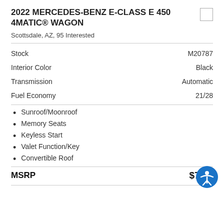2022 MERCEDES-BENZ E-CLASS E 450 4MATIC® WAGON
Scottsdale, AZ, 95 Interested
|  |  |
| --- | --- |
| Stock | M20787 |
| Interior Color | Black |
| Transmission | Automatic |
| Fuel Economy | 21/28 |
Sunroof/Moonroof
Memory Seats
Keyless Start
Valet Function/Key
Convertible Roof
MSRP  $76,7...